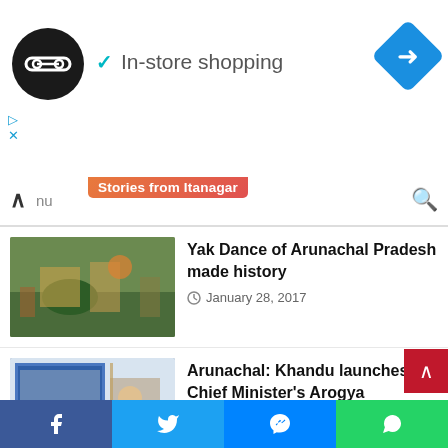[Figure (screenshot): Ad banner: logo circle, checkmark, 'In-store shopping' text, navigation diamond icon, small triangle and X icons below]
nu  Stories from Itanagar
[Figure (photo): Parade float with Yak Dance of Arunachal Pradesh]
Yak Dance of Arunachal Pradesh made history
January 28, 2017
[Figure (photo): Government officials at a presentation screen for Arogya Arunachal Yojana launch]
Arunachal: Khandu launches Chief Minister's Arogya Arunachal Yojana
July 25, 2018
[Figure (photo): Governor at religious/spiritual gathering with monks and officials]
Arunachal: Governor attends Sangosthi on Spiritual, Happiness, Bharatiya Gyan Parampara and Azadi Ka Amrit Mahotsav
April 28, 2022
Facebook  Twitter  Messenger  WhatsApp